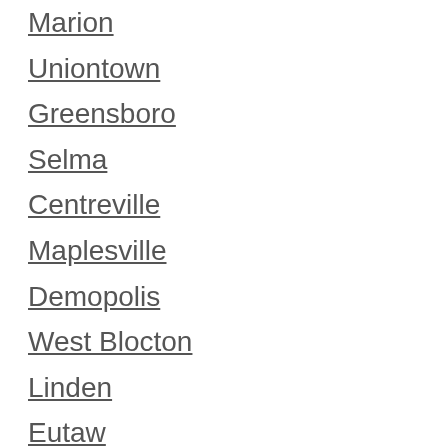Marion
Uniontown
Greensboro
Selma
Centreville
Maplesville
Demopolis
West Blocton
Linden
Eutaw
Vance
Thorsby
Perry County